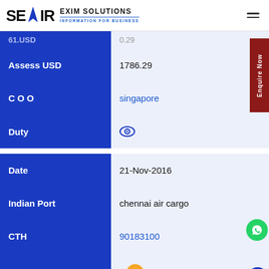SEAIR EXIM SOLUTIONS — INFORMATION FOR BUSINESS
| Field | Value |
| --- | --- |
| 61.USD | 0.29 |
| Assess USD | 1786.29 |
| COO | singapore |
| Duty | (eye icon) |
| Date | 21-Nov-2016 |
| Indian Port | chennai air cargo |
| CTH | 90183100 |
| Item Description | d...ble hypodermic |